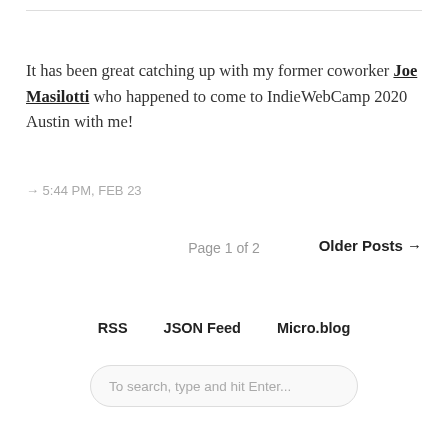It has been great catching up with my former coworker Joe Masilotti who happened to come to IndieWebCamp 2020 Austin with me!
→ 5:44 PM, FEB 23
Page 1 of 2
Older Posts →
RSS   JSON Feed   Micro.blog
To search, type and hit Enter...